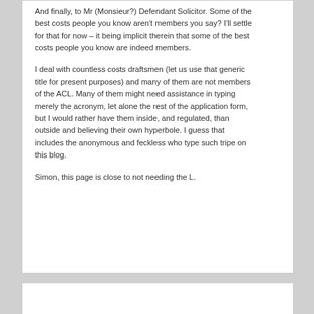And finally, to Mr (Monsieur?) Defendant Solicitor. Some of the best costs people you know aren't members you say? I'll settle for that for now – it being implicit therein that some of the best costs people you know are indeed members.

I deal with countless costs draftsmen (let us use that generic title for present purposes) and many of them are not members of the ACL. Many of them might need assistance in typing merely the acronym, let alone the rest of the application form, but I would rather have them inside, and regulated, than outside and believing their own hyperbole. I guess that includes the anonymous and feckless who type such tripe on this blog.

Simon, this page is close to not needing the L.